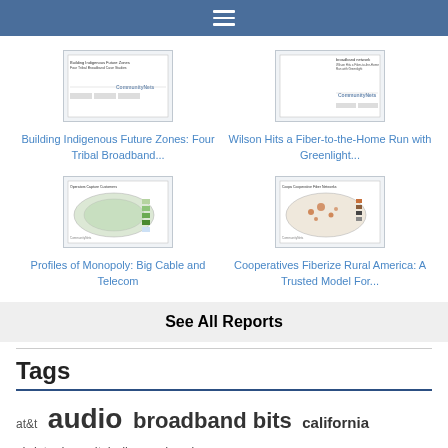Navigation menu
[Figure (screenshot): Thumbnail of 'Building Indigenous Future Zones: Four Tribal Broadband Case Studies' report cover]
Building Indigenous Future Zones: Four Tribal Broadband...
[Figure (screenshot): Thumbnail of 'Wilson Hits a Fiber-to-the-Home Run with Greenlight...' report cover]
Wilson Hits a Fiber-to-the-Home Run with Greenlight...
[Figure (map): Thumbnail of 'Profiles of Monopoly: Big Cable and Telecom' report showing US map]
Profiles of Monopoly: Big Cable and Telecom
[Figure (map): Thumbnail of 'Cooperatives Fiberize Rural America: A Trusted Model For...' report showing US map]
Cooperatives Fiberize Rural America: A Trusted Model For...
See All Reports
Tags
at&t  audio  broadband bits  california
christopher mitchell  colorado  commu...